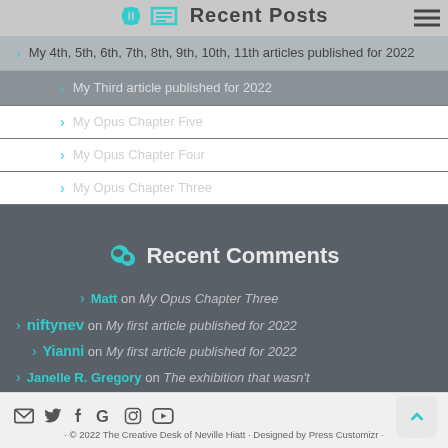Recent Posts
My 4th, 5th, 6th, 7th, 8th, 9th, 10th, 11th articles published for 2022
My Third article published for 2022
My Opus Chapter Five
My Opus Chapter Four
My Opus Chapter Three
Recent Comments
Matt on My Opus Chapter Three
niftynev on My first article published for 2022
Yianni on My first article published for 2022
Janelle R. Gregory on The exhibition that wasn't
niftynev on Four Seasons 2022 Spring Prelude
© 2022 The Creative Desk of Neville Hiatt · Designed by Press Customizr